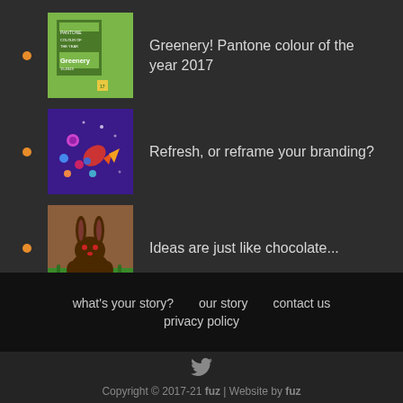Greenery! Pantone colour of the year 2017
Refresh, or reframe your branding?
Ideas are just like chocolate...
what's your story?   our story   contact us   privacy policy
Copyright © 2017-21 fuz | Website by fuz